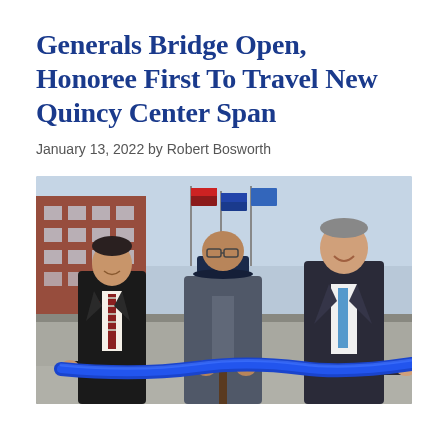Generals Bridge Open, Honoree First To Travel New Quincy Center Span
January 13, 2022 by Robert Bosworth
[Figure (photo): Three men standing on the newly opened Generals Bridge in Quincy Center, holding a blue ribbon in a ribbon-cutting ceremony. Flags and a brick building are visible in the background. The man on the left wears a dark suit with a striped tie, the man in the center wears a gray jacket and a blue Air Force cap, and the man on the right wears a dark suit with a light blue tie.]